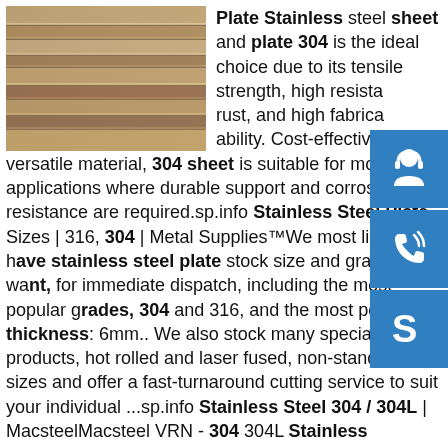[Figure (photo): Stack of stainless steel plates/sheets photographed from the side, showing layered metal edges with rusty/golden tones]
Plate Stainless steel sheet and plate 304 is the ideal choice due to its tensile strength, high resistance to rust, and high fabricability. Cost-effective and versatile material, 304 sheet is suitable for most applications where durable support and corrosion resistance are required.sp.info Stainless Steel Plate Sizes | 316, 304 | Metal Supplies™We most likely have stainless steel plate stock size and grade you want, for immediate dispatch, including the most popular grades, 304 and 316, and the most popular thickness: 6mm.. We also stock many specialist products, hot rolled and laser fused, non-standard sizes and offer a fast-turnaround cutting service to suit your individual ...sp.info Stainless Steel 304 / 304L | MacsteelMacsteel VRN - 304 304L Stainless Datasheet Size: 377.91 KB Format : PDFsp.info Metal Sheet, Plate & Parts :: Stainless Steel (304, 316
[Figure (infographic): Three blue square buttons on the right side: headset/support icon, phone/call icon, Skype icon]